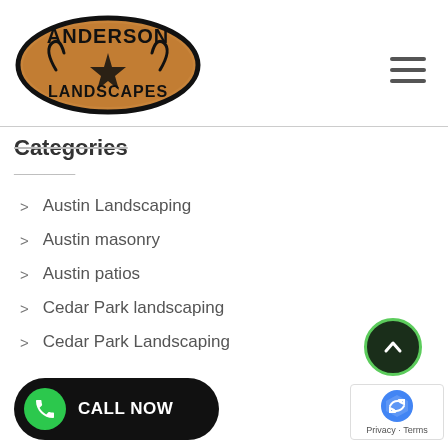[Figure (logo): Anderson Landscapes oval logo with bull horns and star design on orange/brown background]
Categories
Austin Landscaping
Austin masonry
Austin patios
Cedar Park landscaping
Cedar Park Landscaping
[Figure (other): Green CALL NOW button with phone icon]
[Figure (other): Scroll to top button (dark circle with up chevron, green border)]
[Figure (other): Google reCAPTCHA badge with Privacy and Terms links]